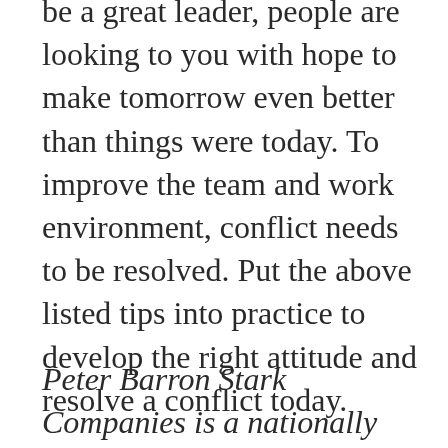be a great leader, people are looking to you with hope to make tomorrow even better than things were today. To improve the team and work environment, conflict needs to be resolved. Put the above listed tips into practice to develop the right attitude and resolve a conflict today.
Peter Barron Stark Companies is a nationally recognized management